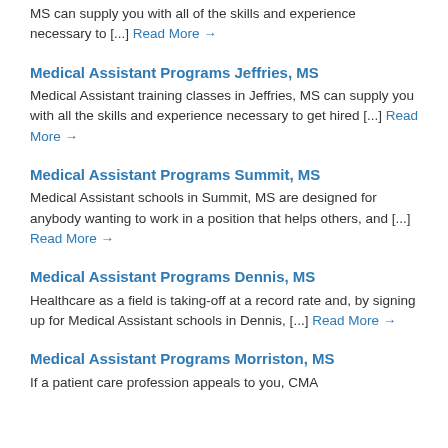MS can supply you with all of the skills and experience necessary to [...] Read More →
Medical Assistant Programs Jeffries, MS
Medical Assistant training classes in Jeffries, MS can supply you with all the skills and experience necessary to get hired [...] Read More →
Medical Assistant Programs Summit, MS
Medical Assistant schools in Summit, MS are designed for anybody wanting to work in a position that helps others, and [...] Read More →
Medical Assistant Programs Dennis, MS
Healthcare as a field is taking-off at a record rate and, by signing up for Medical Assistant schools in Dennis, [...] Read More →
Medical Assistant Programs Morriston, MS
If a patient care profession appeals to you, CMA